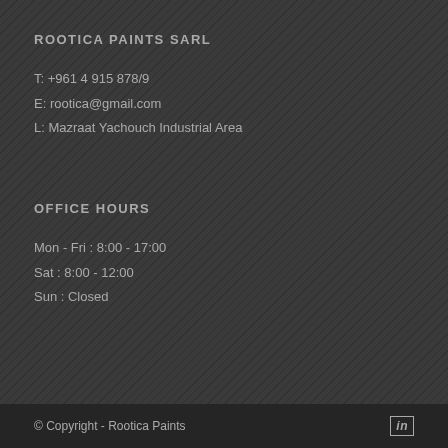ROOTICA PAINTS SARL
T: +961 4 915 878/9
E: rootica@gmail.com
L: Mazraat Yachouch Industrial Area
OFFICE HOURS
Mon - Fri : 8:00 - 17:00
Sat : 8:00 - 12:00
Sun : Closed
© Copyright - Rootica Paints    in